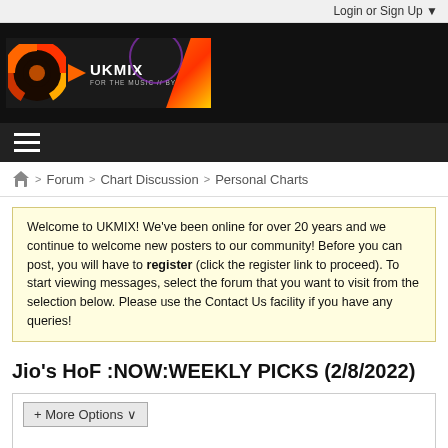Login or Sign Up ▼
[Figure (logo): UKMIX logo banner — colorful disc icon with orange play arrow, text 'UKMIX FOR THE MUSIC // BY THE FANS' on dark background with orange/purple graphic on right]
≡ (hamburger menu icon)
🏠 > Forum > Chart Discussion > Personal Charts
Welcome to UKMIX! We've been online for over 20 years and we continue to welcome new posters to our community! Before you can post, you will have to register (click the register link to proceed). To start viewing messages, select the forum that you want to visit from the selection below. Please use the Contact Us facility if you have any queries!
Jio's HoF :NOW:WEEKLY PICKS (2/8/2022)
+ More Options ∨
Filter ▼